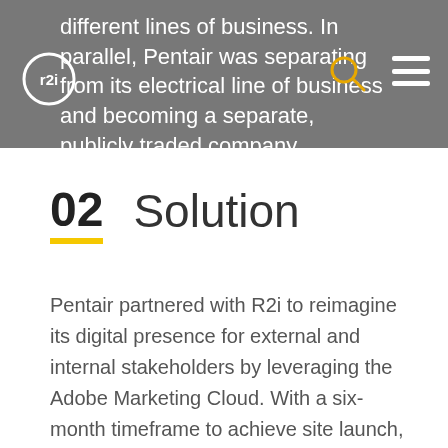different lines of business. In parallel, Pentair was separating from its electrical line of business and becoming a separate, publicly traded company.
02  Solution
Pentair partnered with R2i to reimagine its digital presence for external and internal stakeholders by leveraging the Adobe Marketing Cloud. With a six-month timeframe to achieve site launch, an agile approach was adopted for all major milestones. This full lifecycle project began with deep analysis into user personas, IA card sorting sessions,